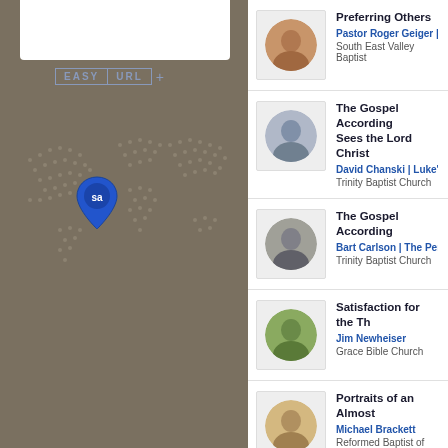[Figure (screenshot): Left panel showing a world map with grey dot pattern on taupe/brown background, with a blue shield location pin marked 'sa', a white box at top, and an EASY URL + button]
Preferring Others — Pastor Roger Geiger | Preferr... — South East Valley Baptist
The Gospel According... Sees the Lord Christ — David Chanski | Luke's Gospe... — Trinity Baptist Church
The Gospel According... — Bart Carlson | The Person an... — Trinity Baptist Church
Satisfaction for the Th... — Jim Newheiser — Grace Bible Church
Portraits of an Almost... — Michael Brackett — Reformed Baptist of Richmond